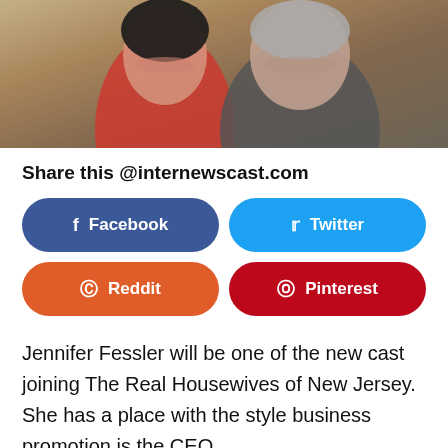[Figure (photo): Two people smiling and posing together — a woman in a red top with dark hair and a man in a dark grey shirt, seated at what appears to be a restaurant.]
Share this @internewscast.com
[Figure (infographic): Four social share buttons: Facebook (dark blue), Twitter (light blue), Reddit (orange), Pinterest (dark red)]
Jennifer Fessler will be one of the new cast joining The Real Housewives of New Jersey. She has a place with the style business promotion is the CEO